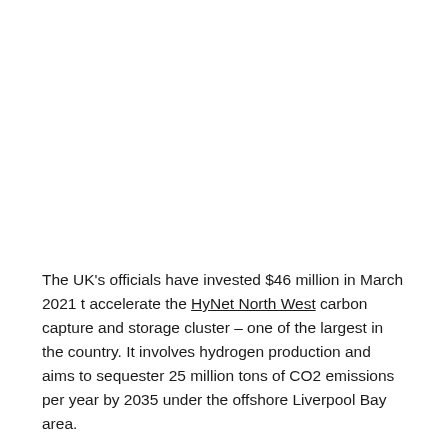The UK's officials have invested $46 million in March 2021 t accelerate the HyNet North West carbon capture and storage cluster – one of the largest in the country. It involves hydrogen production and aims to sequester 25 million tons of CO2 emissions per year by 2035 under the offshore Liverpool Bay area.